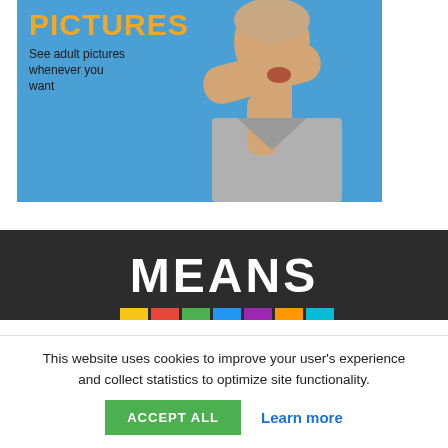[Figure (photo): Blue background advertisement showing a man in a grey t-shirt covering his eyes with one hand and laughing. Orange bold text reads 'PICTURES' and below it dark text reads 'See adult pictures whenever you want'.]
[Figure (illustration): Dark banner with large white bold text 'MEANS' and colored blocks at the bottom partially visible.]
This website uses cookies to improve your user's experience and collect statistics to optimize site functionality.
ACCEPT ALL
Learn more